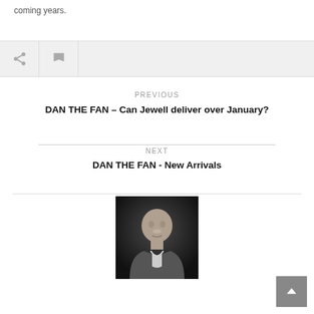coming years.
[Figure (other): Toolbar with share and flag icons on grey background]
PREVIOUS
DAN THE FAN – Can Jewell deliver over January?
NEXT
DAN THE FAN - New Arrivals
[Figure (photo): Black and white headshot photo of a bald man in a suit jacket]
[Figure (other): Back to top button, grey square with white chevron arrow]